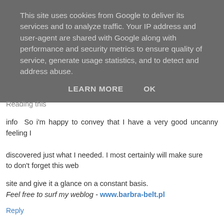This site uses cookies from Google to deliver its services and to analyze traffic. Your IP address and user-agent are shared with Google along with performance and security metrics to ensure quality of service, generate usage statistics, and to detect and address abuse.
LEARN MORE   OK
Reading this
info So i'm happy to convey that I have a very good uncanny feeling I
discovered just what I needed. I most certainly will make sure to don't forget this web
site and give it a glance on a constant basis. Feel free to surf my weblog - www.barbra-belt.pl
Reply